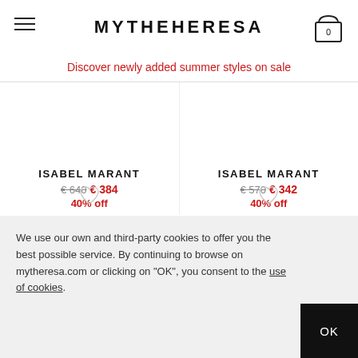MYTHERESA
Discover newly added summer styles on sale
ISABEL MARANT  € 640  € 384  40% off
ISABEL MARANT  € 570  € 342  40% off
We use our own and third-party cookies to offer you the best possible service. By continuing to browse on mytheresa.com or clicking on "OK", you consent to the use of cookies.